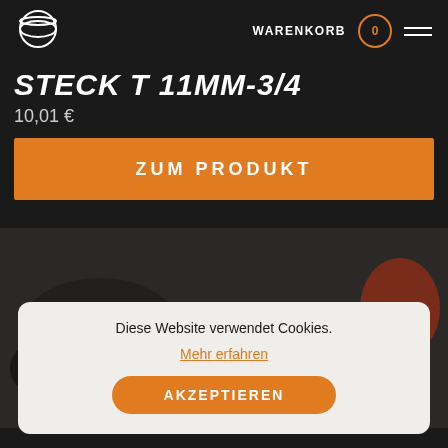[Figure (logo): Circular logo with horizontal lines, white on dark background]
WARENKORB 0
STECK T 11MM-3/4
10,01 €
ZUM PRODUKT
[Figure (photo): Blurred product photo showing workshop or industrial items on dark background]
Diese Website verwendet Cookies.
Mehr erfahren
AKZEPTIEREN